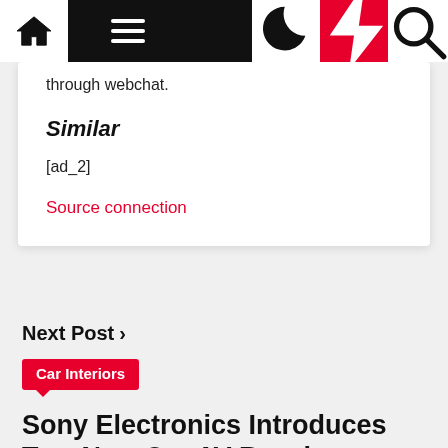Navigation bar with home, menu, dark mode, lightning, and search icons
through webchat.
Similar
[ad_2]
Source connection
Next Post >
Car Interiors
Sony Electronics Introduces Two New Car AV Receivers
Fri Jun 17, 2022